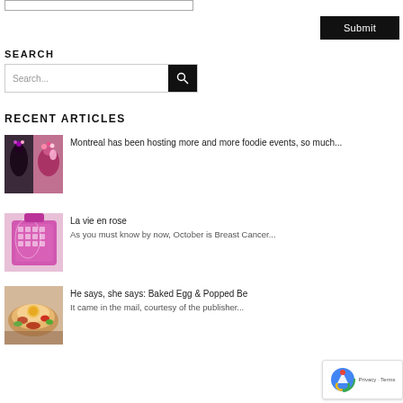[Figure (screenshot): Top form input box (text field outline)]
[Figure (screenshot): Submit button - black rectangle with white text 'Submit']
SEARCH
[Figure (screenshot): Search bar with placeholder 'Search...' and black search button with magnifier icon]
RECENT ARTICLES
[Figure (photo): Food/dessert thumbnail image showing colorful decorated cakes or desserts]
Montreal has been hosting more and more foodie events, so much...
[Figure (photo): Pink/magenta ice cream maker or kitchen appliance thumbnail]
La vie en rose
As you must know by now, October is Breast Cancer...
[Figure (photo): Baked egg dish / food photo thumbnail]
He says, she says: Baked Egg & Popped Be
It came in the mail, courtesy of the publisher...
[Figure (screenshot): Google reCAPTCHA badge with logo and Privacy - Terms text]